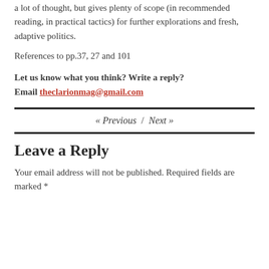a lot of thought, but gives plenty of scope (in recommended reading, in practical tactics) for further explorations and fresh, adaptive politics.
References to pp.37, 27 and 101
Let us know what you think? Write a reply? Email theclarionmag@gmail.com
« Previous / Next »
Leave a Reply
Your email address will not be published. Required fields are marked *